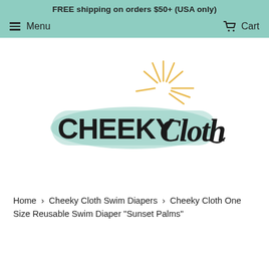FREE shipping on orders $50+ (USA only)
Menu   Cart
[Figure (logo): Cheeky Cloth logo: teal brushstroke background with bold sans-serif 'CHEEKY' and script 'Cloth' text, with a sunburst illustration above in gold]
Home > Cheeky Cloth Swim Diapers > Cheeky Cloth One Size Reusable Swim Diaper "Sunset Palms"